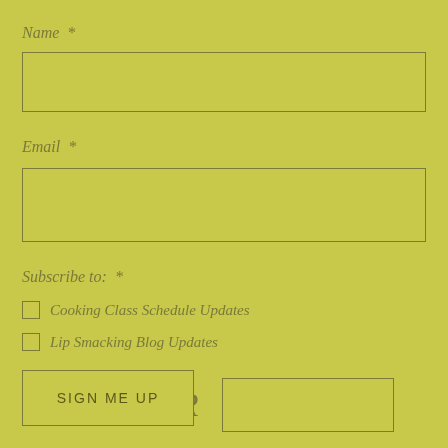Name *
[Figure (other): Empty text input box for Name field]
Email *
[Figure (other): Empty text input box for Email field]
Subscribe to:  *
Cooking Class Schedule Updates
Lip Smacking Blog Updates
[Figure (other): CAPTCHA image showing text '4 J D 2 R' with an empty input box beside it]
[Figure (other): SIGN ME UP button]